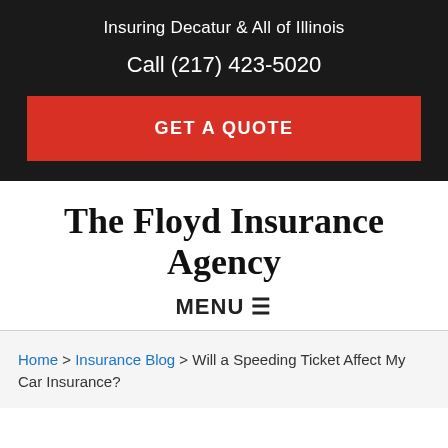Insuring Decatur & All of Illinois
Call (217) 423-5020
GET A QUOTE
The Floyd Insurance Agency
MENU ☰
Home > Insurance Blog > Will a Speeding Ticket Affect My Car Insurance?